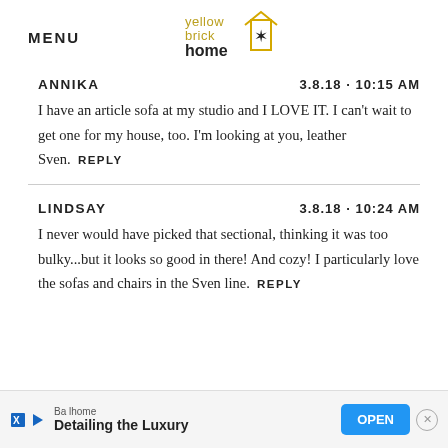MENU | yellow brick home (logo)
ANNIKA   3.8.18 · 10:15 AM
I have an article sofa at my studio and I LOVE IT. I can't wait to get one for my house, too. I'm looking at you, leather Sven.  REPLY
LINDSAY   3.8.18 · 10:24 AM
I never would have picked that sectional, thinking it was too bulky...but it looks so good in there! And cozy! I particularly love the sofas and chairs in the Sven line.  REPLY
[Figure (screenshot): Advertisement bar at bottom: Balhome 'Detailing the Luxury' with OPEN button and close X]